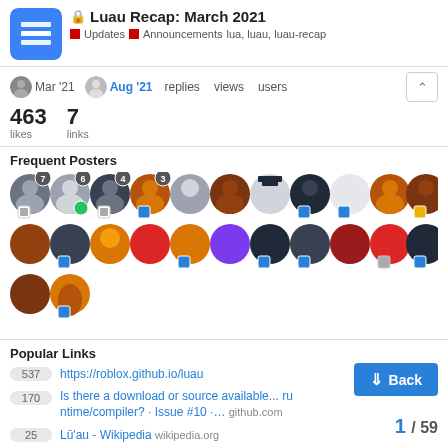Luau Recap: March 2021
Updates  Announcements  lua, luau, luau-recap
Mar '21  Aug '21  replies  views  users
463 likes  7 links
Frequent Posters
[Figure (other): Grid of Roblox user avatars representing frequent posters, some with numbered badges (7, 6, 4, 3) and blue Roblox icons]
Popular Links
537  https://roblox.github.io/luau
170  Is there a download or source available... runtime/compiler? · Issue #10 ·...  github.com
25  Lū'au - Wikipedia  wikipedia.org
16  Quick Luau Logo I made  roblox.com
1 / 59